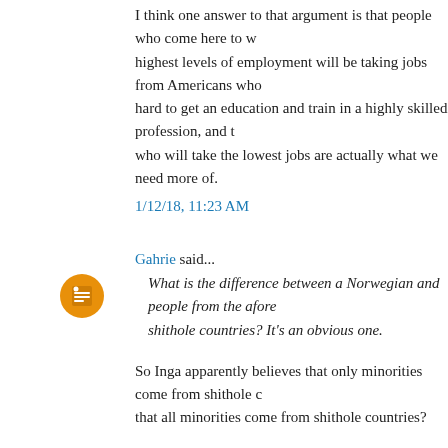I think one answer to that argument is that people who come here to work at the highest levels of employment will be taking jobs from Americans who worked hard to get an education and train in a highly skilled profession, and the who will take the lowest jobs are actually what we need more of.
1/12/18, 11:23 AM
Gahrie said...
What is the difference between a Norwegian and people from the afore shithole countries? It's an obvious one.
So Inga apparently believes that only minorities come from shithole countries, or that all minorities come from shithole countries?
Isn't that racist?
1/12/18, 11:24 AM
Yancey Ward said...
Think about how this argument plays out, though- the strongest argument for new amnesty for the Salvadorans, Haitians, and others is this- and the